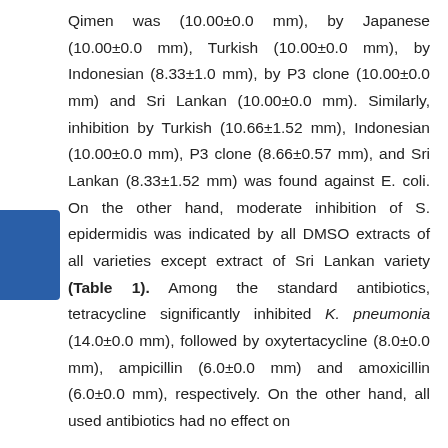Qimen was (10.00±0.0 mm), by Japanese (10.00±0.0 mm), Turkish (10.00±0.0 mm), by Indonesian (8.33±1.0 mm), by P3 clone (10.00±0.0 mm) and Sri Lankan (10.00±0.0 mm). Similarly, inhibition by Turkish (10.66±1.52 mm), Indonesian (10.00±0.0 mm), P3 clone (8.66±0.57 mm), and Sri Lankan (8.33±1.52 mm) was found against E. coli. On the other hand, moderate inhibition of S. epidermidis was indicated by all DMSO extracts of all varieties except extract of Sri Lankan variety (Table 1). Among the standard antibiotics, tetracycline significantly inhibited K. pneumonia (14.0±0.0 mm), followed by oxytertacycline (8.0±0.0 mm), ampicillin (6.0±0.0 mm) and amoxicillin (6.0±0.0 mm), respectively. On the other hand, all used antibiotics had no effect on